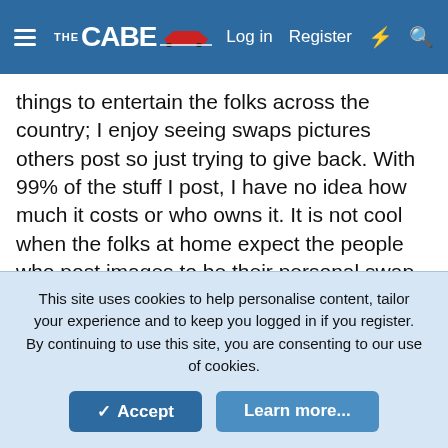THE CABE — Log in  Register
things to entertain the folks across the country; I enjoy seeing swaps pictures others post so just trying to give back. With 99% of the stuff I post, I have no idea how much it costs or who owns it. It is not cool when the folks at home expect the people who post images to be their personal swap concierge...
👍 😍 Jesse McCauley, tripple3, Nashman and 10 others
Son of Paul
This site uses cookies to help personalise content, tailor your experience and to keep you logged in if you register. By continuing to use this site, you are consenting to our use of cookies.